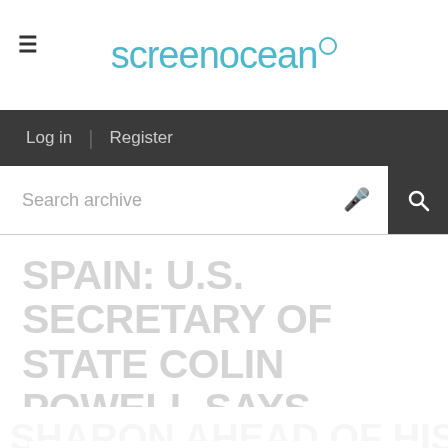[Figure (logo): Screenocean logo with hamburger menu icon on the left]
Log in | Register
Search archive
SPAIN: U.S. SECRETARY OF STATE COLIN POWELL SAYS
We use cookies on this website. By continuing to use this site without changing your cookie settings, you agree that you are happy to accept our privacy policy and cookie policy and for us to access our cookies on your device.
Accept